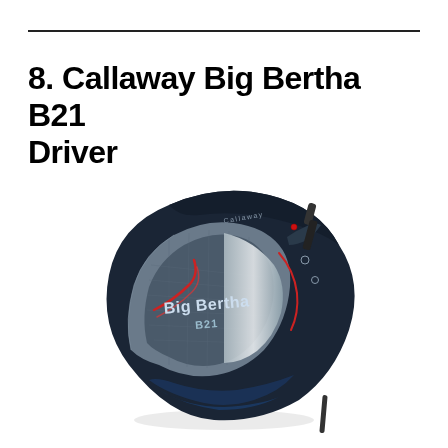8. Callaway Big Bertha B21 Driver
[Figure (photo): Callaway Big Bertha B21 Driver golf club head shown from the face angle, dark navy/black with silver accents, red accent lines, 'Big Bertha B21' text on the club face, Callaway branding on the crown, against a white background.]